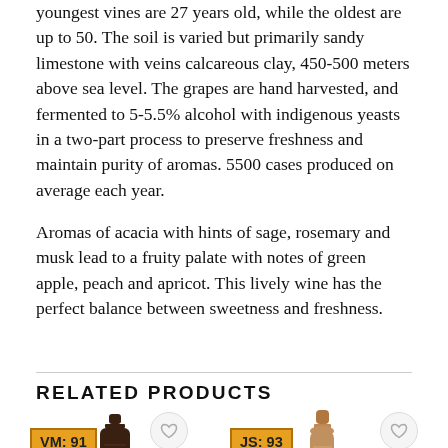youngest vines are 27 years old, while the oldest are up to 50. The soil is varied but primarily sandy limestone with veins calcareous clay, 450-500 meters above sea level. The grapes are hand harvested, and fermented to 5-5.5% alcohol with indigenous yeasts in a two-part process to preserve freshness and maintain purity of aromas. 5500 cases produced on average each year.
Aromas of acacia with hints of sage, rosemary and musk lead to a fruity palate with notes of green apple, peach and apricot. This lively wine has the perfect balance between sweetness and freshness.
RELATED PRODUCTS
[Figure (photo): Wine bottle (dark, red wine) product image on the left side]
[Figure (photo): Champagne/sparkling wine bottle (rose gold foil top) product image on the right side]